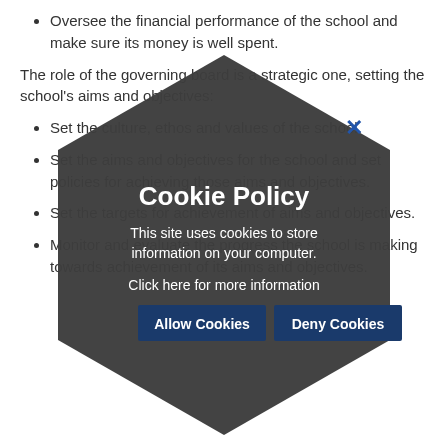Oversee the financial performance of the school and make sure its money is well spent.
The role of the governing board is a strategic one, setting the school's aims and objectives:
Set the culture, ethos and values of the school.
Set the aims and objectives for the school and set policies for achieving those aims and objectives.
Set the targets for achievement of aims and objectives.
Monitor and evaluate the progress the school is making towards achievement of its aims and objectives.
[Figure (other): Cookie policy modal overlay with hexagonal dark background shape. Contains title 'Cookie Policy', body text 'This site uses cookies to store information on your computer.', link 'Click here for more information', and two buttons: 'Allow Cookies' and 'Deny Cookies'. A close X button appears at top right of the hexagon.]